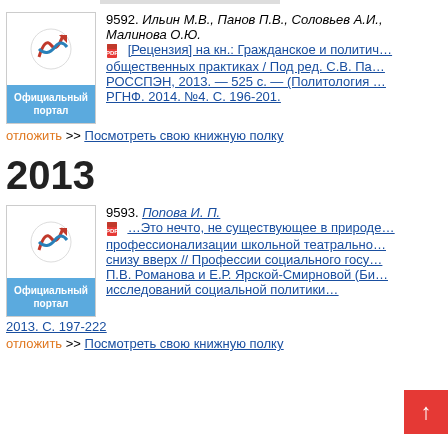[Figure (illustration): Book cover with logo for entry 9592]
9592. Ильин М.В., Панов П.В., Соловьев А.И., Малинова О.Ю.
[Рецензия] на кн.: Гражданское и политич... общественных практиках / Под ред. С.В. Па... РОССПЭН, 2013. — 525 с. — (Политология ... РГНФ. 2014. №4. С. 196-201.
отложить >> Посмотреть свою книжную полку
2013
[Figure (illustration): Book cover with logo for entry 9593]
9593. Попова И. П.
...Это нечто, не существующее в природе... профессионализации школьной театрально... снизу вверх // Профессии социального госу... П.В. Романова и Е.Р. Ярской-Смирновой (Би... исследований социальной политики...
2013. С. 197-222
отложить >> Посмотреть свою книжную полку